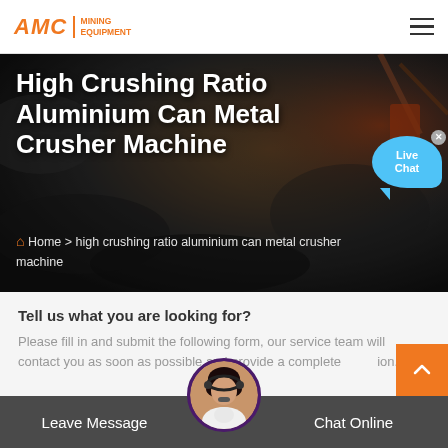[Figure (logo): AMC Mining Equipment logo in orange]
High Crushing Ratio Aluminium Can Metal Crusher Machine
Home > high crushing ratio aluminium can metal crusher machine
Tell us what you are looking for?
Please fill in and submit the following form, our service team will contact you as soon as possible and provide a complete solution.
Leave Message
Chat Online